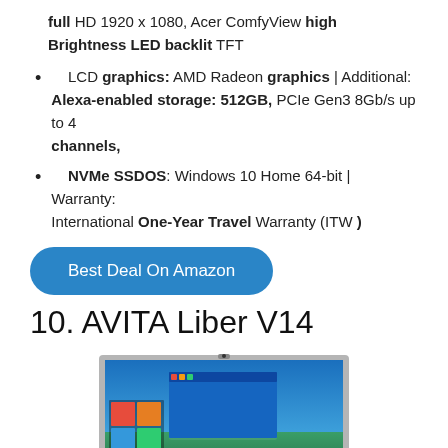full HD 1920 x 1080, Acer ComfyView high Brightness LED backlit TFT
LCD graphics: AMD Radeon graphics | Additional: Alexa-enabled storage: 512GB, PCIe Gen3 8Gb/s up to 4 channels,
NVMe SSDOS: Windows 10 Home 64-bit | Warranty: International One-Year Travel Warranty (ITW )
Best Deal On Amazon
10. AVITA Liber V14
[Figure (photo): Photograph of AVITA Liber V14 laptop showing Windows 10 desktop on screen, silver chassis, silver keyboard, viewed from slightly above front angle]